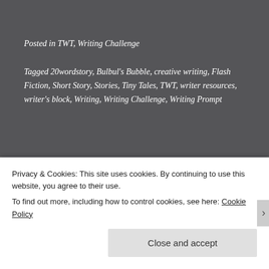Posted in TWT, Writing Challenge
Tagged 20wordstory, Bulbul's Bubble, creative writing, Flash Fiction, Short Story, Stories, Tiny Tales, TWT, writer resources, writer's block, Writing, Writing Challenge, Writing Prompt
Published by Bulbul
[Figure (logo): Bulbul's Bubble circular logo with stylized BB letters on dark red background]
A woman writer from India who has
Privacy & Cookies: This site uses cookies. By continuing to use this website, you agree to their use.
To find out more, including how to control cookies, see here: Cookie Policy
Close and accept